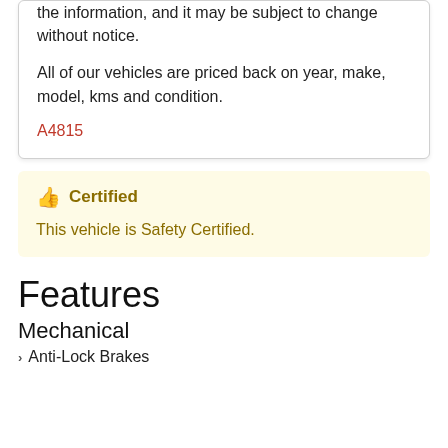the information, and it may be subject to change without notice.

All of our vehicles are priced back on year, make, model, kms and condition.

A4815
Certified
This vehicle is Safety Certified.
Features
Mechanical
Anti-Lock Brakes